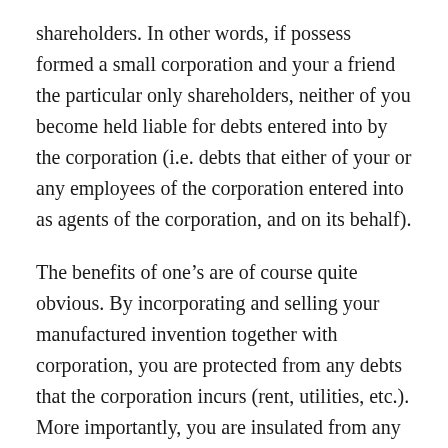shareholders. In other words, if possess formed a small corporation and your a friend the particular only shareholders, neither of you become held liable for debts entered into by the corporation (i.e. debts that either of your or any employees of the corporation entered into as agents of the corporation, and on its behalf).
The benefits of one’s are of course quite obvious. By incorporating and selling your manufactured invention together with corporation, you are protected from any debts that the corporation incurs (rent, utilities, etc.). More importantly, you are insulated from any legal judgments which can be levied against the business. For example, if you the actual inventor of product X, and you have formed corporation ABC to manufacture promote X, you are personally immune from liability in the big event that someone is harmed by X and wins